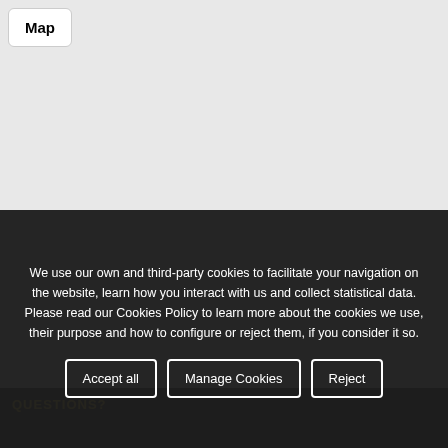[Figure (map): Light grey map area background with a 'Map' button in top-left corner]
We use our own and third-party cookies to facilitate your navigation on the website, learn how you interact with us and collect statistical data. Please read our Cookies Policy to learn more about the cookies we use, their purpose and how to configure or reject them, if you consider it so.
Accept all
Manage Cookies
Reject
QUESTIONS?